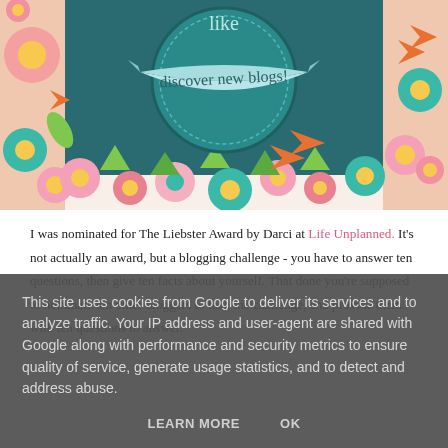[Figure (illustration): Decorative blog award banner with teal circular badge reading 'discover new blogs!' on a ribbon, surrounded by colorful retro floral patterns in pink, orange, teal, yellow, and green on a white background.]
I was nominated for The Liebster Award by Darci at Life Unplanned. It's not actually an award, but a blogging challenge - you have to answer ten questions, then give ten facts about yourself. That done you're supposed to nominate ten other bloggers to take the challenge, and provide them with ten questions to answer.
This site uses cookies from Google to deliver its services and to analyze traffic. Your IP address and user-agent are shared with Google along with performance and security metrics to ensure quality of service, generate usage statistics, and to detect and address abuse.
LEARN MORE    OK